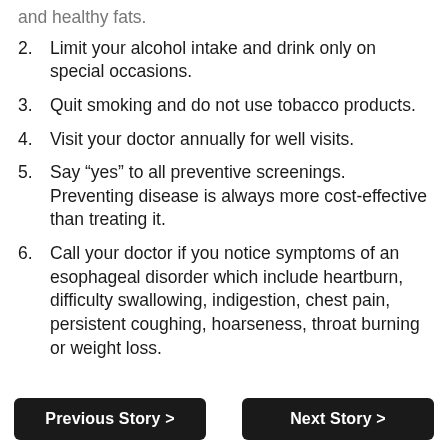and healthy fats.
2. Limit your alcohol intake and drink only on special occasions.
3. Quit smoking and do not use tobacco products.
4. Visit your doctor annually for well visits.
5. Say “yes” to all preventive screenings. Preventing disease is always more cost-effective than treating it.
6. Call your doctor if you notice symptoms of an esophageal disorder which include heartburn, difficulty swallowing, indigestion, chest pain, persistent coughing, hoarseness, throat burning or weight loss.
Previous Story >
Next Story >